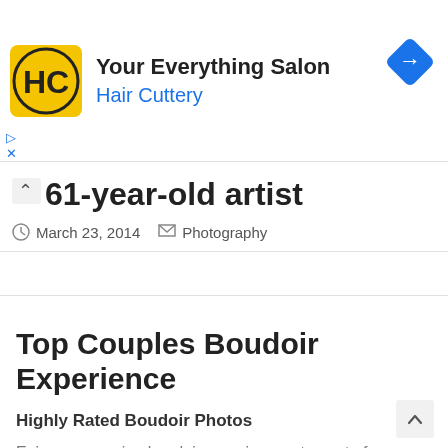[Figure (screenshot): Hair Cuttery advertisement banner with yellow/black HC logo, text 'Your Everything Salon' and 'Hair Cuttery' in blue, and a blue diamond navigation icon]
61-year-old artist
March 23, 2014  Photography
[Figure (screenshot): Advertisement for 'Top Couples Boudoir Experience' - Highly Rated Boudoir Photos. Text: Enjoy an amazing boudoir experience, step out of your comfort zone & boost your confidence. URL: landing.marcoibanezphotography.com]